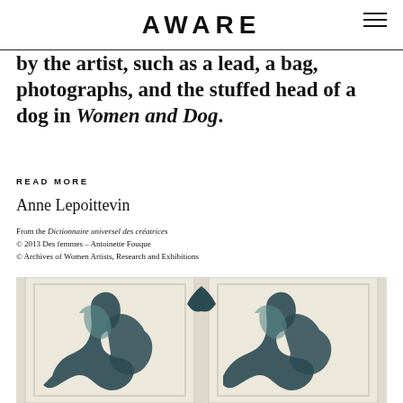AWARE
by the artist, such as a lead, a bag, photographs, and the stuffed head of a dog in Women and Dog.
READ MORE
Anne Lepoittevin
From the Dictionnaire universel des créatrices
© 2013 Des femmes – Antoinette Fouque
© Archives of Women Artists, Research and Exhibitions
[Figure (photo): Photograph of two door-like painted panels with cream/off-white background and dark teal ornamental swirling pattern, displayed side by side.]